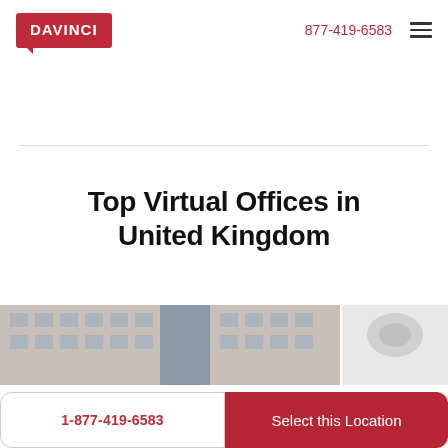[Figure (logo): DAVINCI logo in red rectangle with speech bubble tail]
877-419-6583
Top Virtual Offices in United Kingdom
[Figure (photo): Photo strip showing office building exterior and interior glimpse]
Promo: $347/mo USD
$199 One-time Setup Fee
1-877-419-6583
Select this Location